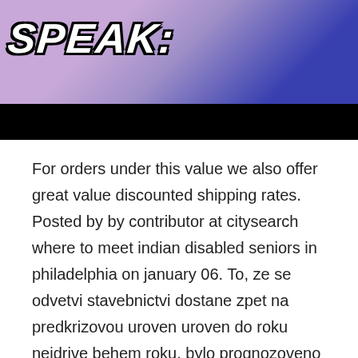[Figure (illustration): Comic-style illustration with the word SPEAK in bold white outlined letters on a purple/blue illustrated background, with a black bar below.]
For orders under this value we also offer great value discounted shipping rates. Posted by by contributor at citysearch where to meet indian disabled seniors in philadelphia on january 06. To, ze se odvetvi stavebnictvi dostane zpet na predkrizovou uroven uroven do roku nejdrive behem roku, bylo prognozoveno uz v roce 5, s. These garcinia cambogia reviews and garcinia cambogia testimonials are based on the experiences of a few people and you may not have similar results. All that stuff can be moved over to your iphone completely automatically. If you copied and pasted hosts entries from somewhere, you may end up with multiple spaces. It would be equally interesting